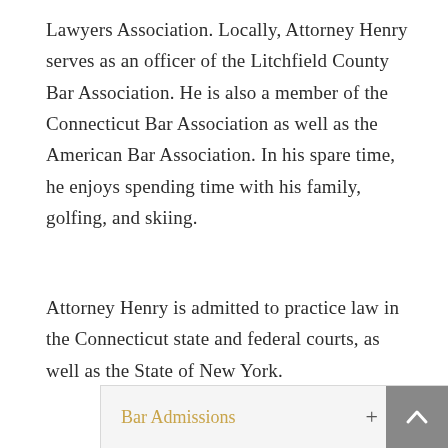Lawyers Association. Locally, Attorney Henry serves as an officer of the Litchfield County Bar Association. He is also a member of the Connecticut Bar Association as well as the American Bar Association. In his spare time, he enjoys spending time with his family, golfing, and skiing.
Attorney Henry is admitted to practice law in the Connecticut state and federal courts, as well as the State of New York.
Bar Admissions